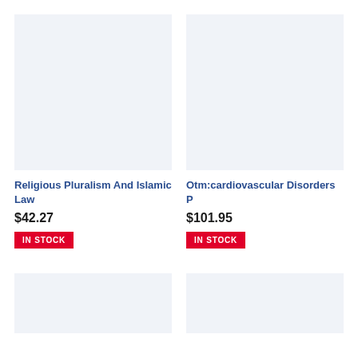[Figure (illustration): Book cover placeholder image with light blue-grey background for Religious Pluralism And Islamic Law]
Religious Pluralism And Islamic Law
$42.27
IN STOCK
[Figure (illustration): Book cover placeholder image with light blue-grey background for Otm:cardiovascular Disorders P]
Otm:cardiovascular Disorders P
$101.95
IN STOCK
[Figure (illustration): Book cover placeholder image with light blue-grey background (bottom left, partially visible)]
[Figure (illustration): Book cover placeholder image with light blue-grey background (bottom right, partially visible)]